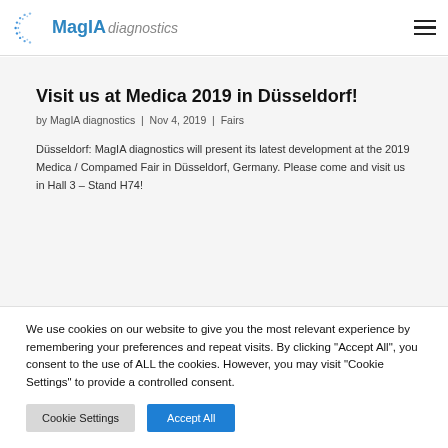MagIA diagnostics
Visit us at Medica 2019 in Düsseldorf!
by MagIA diagnostics | Nov 4, 2019 | Fairs
Düsseldorf: MagIA diagnostics will present its latest development at the 2019 Medica / Compamed Fair in Düsseldorf, Germany. Please come and visit us in Hall 3 – Stand H74!
We use cookies on our website to give you the most relevant experience by remembering your preferences and repeat visits. By clicking "Accept All", you consent to the use of ALL the cookies. However, you may visit "Cookie Settings" to provide a controlled consent.
Cookie Settings | Accept All